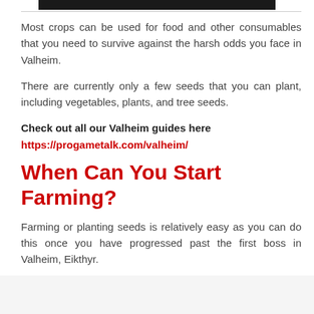Most crops can be used for food and other consumables that you need to survive against the harsh odds you face in Valheim.
There are currently only a few seeds that you can plant, including vegetables, plants, and tree seeds.
Check out all our Valheim guides here https://progametalk.com/valheim/
When Can You Start Farming?
Farming or planting seeds is relatively easy as you can do this once you have progressed past the first boss in Valheim, Eikthyr.